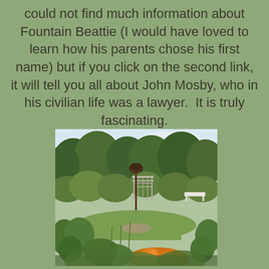could not find much information about Fountain Beattie (I would have loved to learn how his parents chose his first name) but if you click on the second link, it will tell you all about John Mosby, who in his civilian life was a lawyer.  It is truly fascinating.
[Figure (photo): A lush garden scene with green plants, flowers including orange marigolds in the foreground, a metal sculpture on a pole in the center, a wooden pergola/trellis structure in the background, a white bench visible to the right, and trees in the background under a partly cloudy sky.]